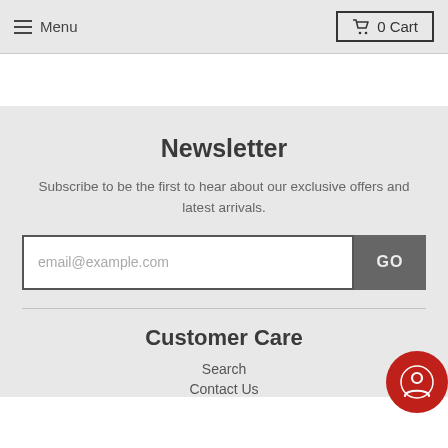Menu  0 Cart
Newsletter
Subscribe to be the first to hear about our exclusive offers and latest arrivals.
email@example.com  GO
Customer Care
Search
Contact Us